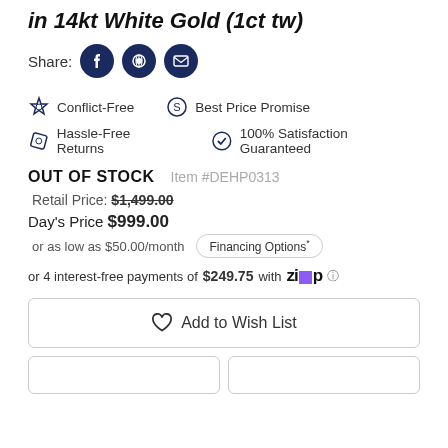in 14kt White Gold (1ct tw)
Share:
Conflict-Free   Best Price Promise   Hassle-Free Returns   100% Satisfaction Guaranteed
OUT OF STOCK   Item #DEHP0313
Retail Price: $1,499.00
Day's Price $999.00
or as low as $50.00/month   Financing Options*
or 4 interest-free payments of $249.75 with Zip
Add to Wish List